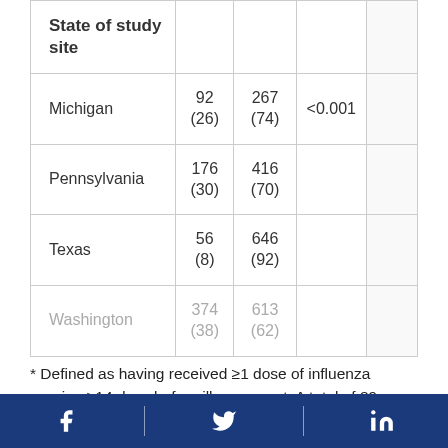| State of study site |  |  |  |
| --- | --- | --- | --- |
| Michigan | 92 (26) | 267 (74) | <0.001 |
| Pennsylvania | 176 (30) | 416 (70) |  |
| Texas | 56 (8) | 646 (92) |  |
| Washington | 374 (38) | 613 (62) |  |
* Defined as having received ≥1 dose of influenza vaccine ≥14 days before illness onset. A total of 89 participants who received the vaccine ≤13 days before illness onset were excluded from the study
Facebook | Twitter | LinkedIn